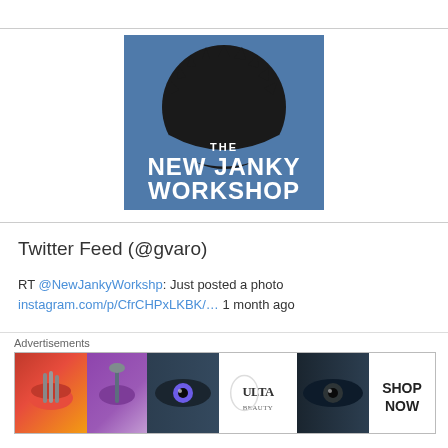[Figure (logo): The New Janky Workshop logo — blue square background with black circular saw blade silhouette and white text reading 'THE NEW JANKY WORKSHOP']
Twitter Feed (@gvaro)
RT @NewJankyWorkshp: Just posted a photo instagram.com/p/CfrCHPxLKBK/… 1 month ago
Happy Independence Day! @ White Horse Beach, Massachusetts instagram.com/p/Cfksf3auAK8/… 1 month ago
[Figure (screenshot): Ulta Beauty advertisement banner showing makeup-related photos and 'SHOP NOW' text]